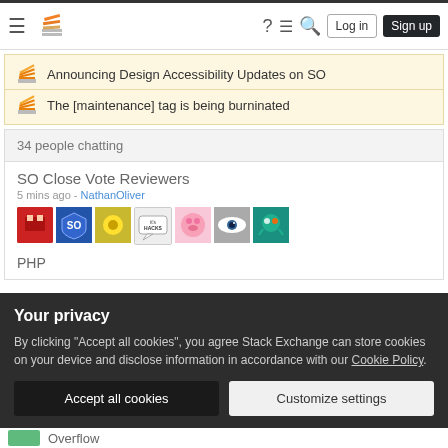Stack Overflow navigation bar with hamburger menu, logo, help, chat, search icons, Log in and Sign up buttons
Announcing Design Accessibility Updates on SO
The [maintenance] tag is being burninated
34 people chatting
SO Close Vote Reviewers
5 mins ago - NathanOliver
[Figure (other): Row of 7 user avatars for chat room members]
PHP
Your privacy
By clicking "Accept all cookies", you agree Stack Exchange can store cookies on your device and disclose information in accordance with our Cookie Policy.
Accept all cookies
Customize settings
Overflow